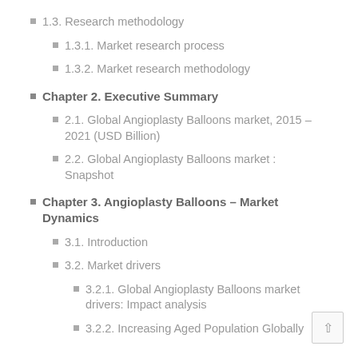1.3. Research methodology
1.3.1. Market research process
1.3.2. Market research methodology
Chapter 2. Executive Summary
2.1. Global Angioplasty Balloons market, 2015 – 2021 (USD Billion)
2.2. Global Angioplasty Balloons market : Snapshot
Chapter 3. Angioplasty Balloons – Market Dynamics
3.1. Introduction
3.2. Market drivers
3.2.1. Global Angioplasty Balloons market drivers: Impact analysis
3.2.2. Increasing Aged Population Globally